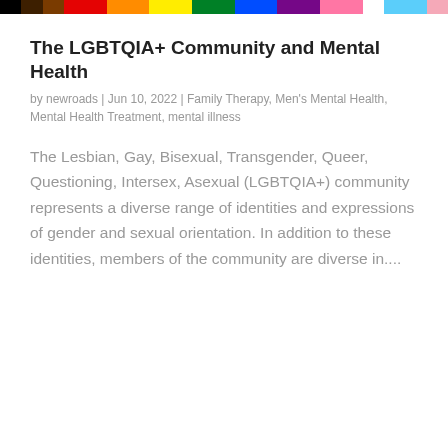[Figure (other): Rainbow pride flag color bar strip across the top of the page, containing stripes of black, brown, red, orange, yellow, green, blue, indigo, violet and other pride flag colors.]
The LGBTQIA+ Community and Mental Health
by newroads | Jun 10, 2022 | Family Therapy, Men's Mental Health, Mental Health Treatment, mental illness
The Lesbian, Gay, Bisexual, Transgender, Queer, Questioning, Intersex, Asexual (LGBTQIA+) community represents a diverse range of identities and expressions of gender and sexual orientation. In addition to these identities, members of the community are diverse in....